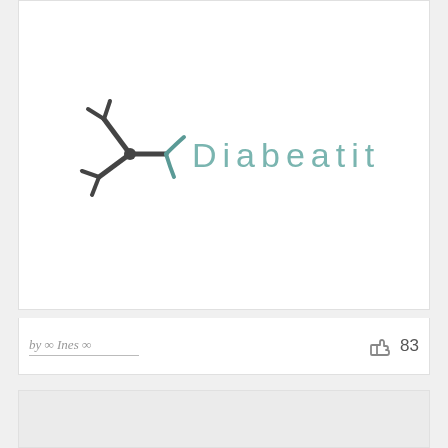[Figure (logo): Diabeatit logo — a dark grey triple-arrow asterisk/snowflake icon on the left, followed by the word 'Diabeatit' in spaced teal/grey sans-serif lettering]
by ∞ Ines ∞
83